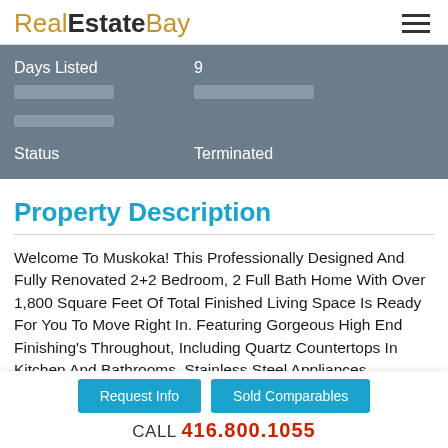RealEstateBay
| Field | Value |
| --- | --- |
| Days Listed | 9 |
| [redacted] | [redacted] |
| [redacted] | [redacted] |
| Status | Terminated |
Property Description
Welcome To Muskoka! This Professionally Designed And Fully Renovated 2+2 Bedroom, 2 Full Bath Home With Over 1,800 Square Feet Of Total Finished Living Space Is Ready For You To Move Right In. Featuring Gorgeous High End Finishing's Throughout, Including Quartz Countertops In Kitchen And Bathrooms, Stainless Steel Appliances, Hardwood Floors Throughout Main Level, All New Fixtures, Heated Floors In Both Custom Designed Bathrooms, Vaulted Ceiling In The Open Concept Living/Dining Area. A
Request Info | Sold Comparables | CALL 416.800.1055